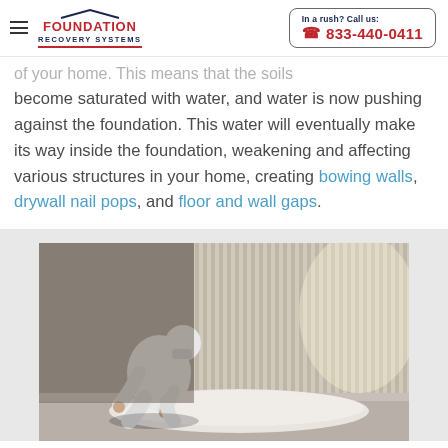Foundation Recovery Systems — In a rush? Call us: 833-440-0411
…of your home. This means that the soils become saturated with water, and water is now pushing against the foundation. This water will eventually make its way inside the foundation, weakening and affecting various structures in your home, creating bowing walls, drywall nail pops, and floor and wall gaps.
[Figure (photo): A worker in white protective coveralls and face mask crouching down and working on a foundation/crawl space floor with reflective metallic insulation material on the wall behind.]